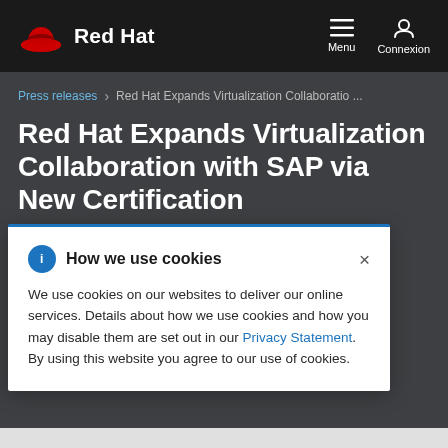Red Hat | Menu | Connexion
Press releases > Red Hat Expands Virtualization Collaboratio ...
Red Hat Expands Virtualization Collaboration with SAP via New Certification
How we use cookies
We use cookies on our websites to deliver our online services. Details about how we use cookies and how you may disable them are set out in our Privacy Statement. By using this website you agree to our use of cookies.
...or SAP® S...ntaining L...omer Needs